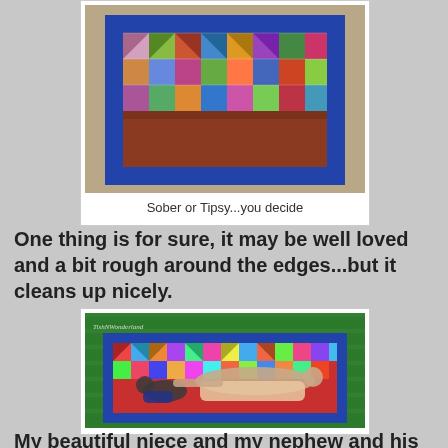[Figure (photo): A colorful patchwork quilt with blue border, folded and resting on a surface. The quilt has multicolored triangular and square blocks.]
Sober or Tipsy...you decide
One thing is for sure, it may be well loved and a bit rough around the edges...but it cleans up nicely.
[Figure (photo): A couple lying on a colorful patchwork quilt spread on green grass. Watermark reads 'TishNWonderland'.]
My beautiful niece and my nephew and his fiancee letting...